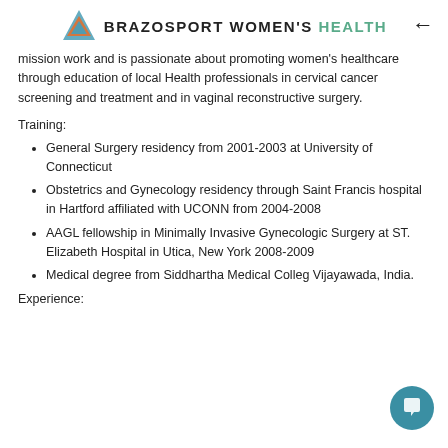BRAZOSPORT WOMEN'S HEALTH
mission work and is passionate about promoting women's healthcare through education of local Health professionals in cervical cancer screening and treatment and in vaginal reconstructive surgery.
Training:
General Surgery residency from 2001-2003 at University of Connecticut
Obstetrics and Gynecology residency through Saint Francis hospital in Hartford affiliated with UCONN from 2004-2008
AAGL fellowship in Minimally Invasive Gynecologic Surgery at ST. Elizabeth Hospital in Utica, New York 2008-2009
Medical degree from Siddhartha Medical College Vijayawada, India.
Experience: